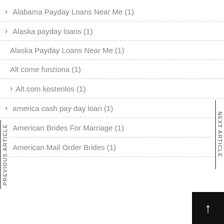Alabama Payday Loans Near Me (1)
Alaska payday loans (1)
Alaska Payday Loans Near Me (1)
Alt come funziona (1)
Alt.com kostenlos (1)
america cash pay day loan (1)
American Brides For Marriage (1)
American Mail Order Brides (1)